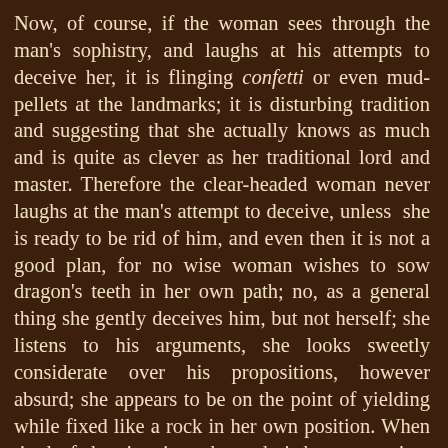Now, of course, if the woman sees through the man's sophistry, and laughs at his attempts to deceive her, it is flinging confetti or even mud-pellets at the landmarks; it is disturbing tradition and suggesting that she actually knows as much and is quite as clever as her traditional lord and master. Therefore the clear-headed woman never laughs at the man's attempt to deceive, unless she is ready to be rid of him, and even then it is not a good plan, for no wise woman wishes to sow dragon's teeth in her own path; no, as a general thing she gently deceives him, but not herself; she listens to his arguments, she looks sweetly considerate over his propositions, however absurd; she appears to be on the point of yielding while fixed like a rock in her own position. When tired of the situation, she ends it by murmuring, with pretty deference: "There's a great deal in what you say, and I never looked at the question from your point of view; of course you have studied these matters a great deal more than I, and you have a much wider